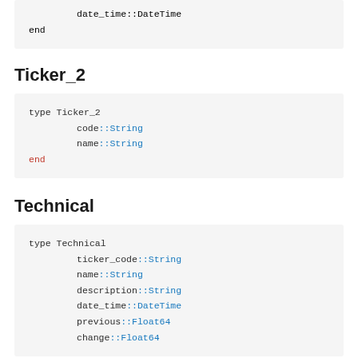[Figure (screenshot): Code block top fragment showing: date_time::DateTime and end]
Ticker_2
[Figure (screenshot): Code block: type Ticker_2 with code::String, name::String, end]
Technical
[Figure (screenshot): Code block: type Technical with ticker_code::String, name::String, description::String, date_time::DateTime, previous::Float64, change::Float64]